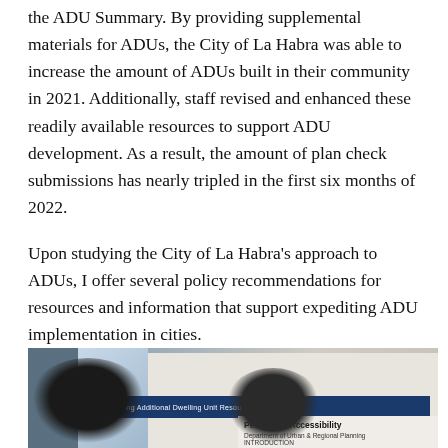the ADU Summary. By providing supplemental materials for ADUs, the City of La Habra was able to increase the amount of ADUs built in their community in 2021. Additionally, staff revised and enhanced these readily available resources to support ADU development. As a result, the amount of plan check submissions has nearly tripled in the first six months of 2022.
Upon studying the City of La Habra's approach to ADUs, I offer several policy recommendations for resources and information that support expediting ADU implementation in cities.
[Figure (photo): Photo of people at an academic poster session, showing two individuals from behind looking at research posters. One poster is titled 'Pedestrian Accessibility' from the Department of Urban & Regional Planning. Another blue banner reads 'enting Additional Dwelling Unit Resources'.]